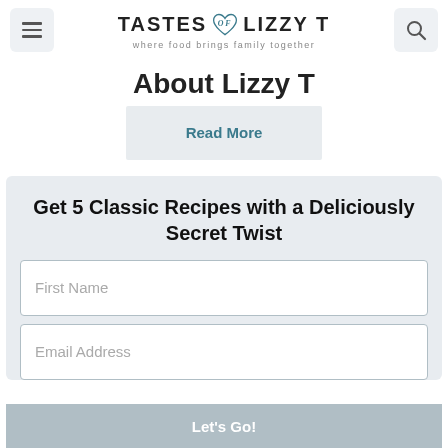TASTES of LIZZY T — where food brings family together
About Lizzy T
Read More
Get 5 Classic Recipes with a Deliciously Secret Twist
First Name
Email Address
Let's Go!